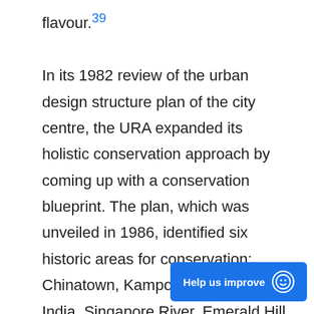flavour.39 In its 1982 review of the urban design structure plan of the city centre, the URA expanded its holistic conservation approach by coming up with a conservation blueprint. The plan, which was unveiled in 1986, identified six historic areas for conservation: Chinatown, Kampong Glam, Little India, Singapore River, Emerald Hill and the Heritage Link – the last being a civic and cultural belt comprising Empress Place, Fort Canning Park and Bras Basah Road.40 Comprising f…